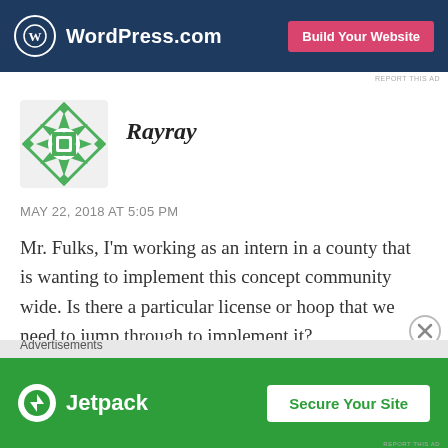[Figure (screenshot): WordPress.com top advertisement banner with logo and 'Build Your Website' button on dark blue background]
REPORT THIS AD
Rayray
MAY 22, 2018 AT 5:05 PM
Mr. Fulks, I'm working as an intern in a county that is wanting to implement this concept community wide. Is there a particular license or hoop that we need to jump through to implement it?
Thank you, -RW
Advertisements
[Figure (screenshot): Jetpack advertisement banner with green background and 'Secure Your Site' button]